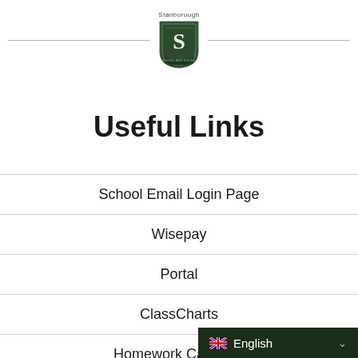[Figure (logo): Stanborough school crest/shield logo with decorative S, green and white colors, with school name above]
Useful Links
School Email Login Page
Wisepay
Portal
ClassCharts
Homework Calendar
Accelerated Reader Bookfinder
English